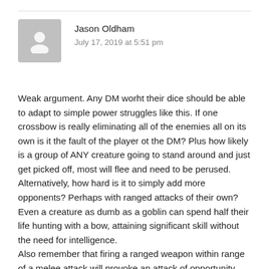Jason Oldham
July 17, 2019 at 5:51 pm
Weak argument. Any DM worht their dice should be able to adapt to simple power struggles like this. If one crossbow is really eliminating all of the enemies all on its own is it the fault of the player ot the DM? Plus how likely is a group of ANY creature going to stand around and just get picked off, most will flee and need to be perused.
Alternatively, how hard is it to simply add more opponents? Perhaps with ranged attacks of their own? Even a creature as dumb as a goblin can spend half their life hunting with a bow, attaining significant skill without the need for intelligence.
Also remember that firing a ranged weapon within range of a melee attack will provoke an attack of opportunity and if you really feel the need to nerf your palyers have that attack land